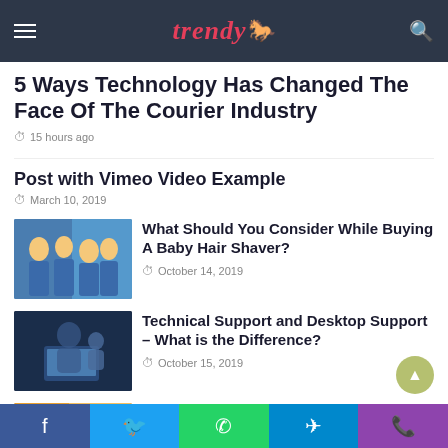Trendy [logo with icon]
5 Ways Technology Has Changed The Face Of The Courier Industry
15 hours ago
Post with Vimeo Video Example
March 10, 2019
[Figure (photo): Group of children in blue outfits, one getting a haircut]
What Should You Consider While Buying A Baby Hair Shaver?
October 14, 2019
[Figure (photo): Man and child using a laptop together]
Technical Support and Desktop Support – What is the Difference?
October 15, 2019
[Figure (photo): Partially visible thumbnail]
How to Purchase Script Online and
Facebook  Twitter  WhatsApp  Telegram  Phone